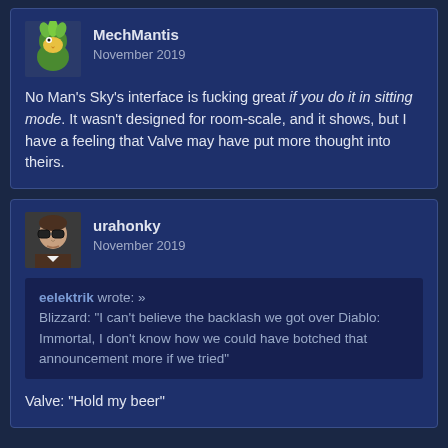MechMantis
November 2019

No Man's Sky's interface is fucking great if you do it in sitting mode. It wasn't designed for room-scale, and it shows, but I have a feeling that Valve may have put more thought into theirs.
urahonky
November 2019

eelektrik wrote: »
Blizzard: "I can't believe the backlash we got over Diablo: Immortal, I don't know how we could have botched that announcement more if we tried"

Valve: "Hold my beer"